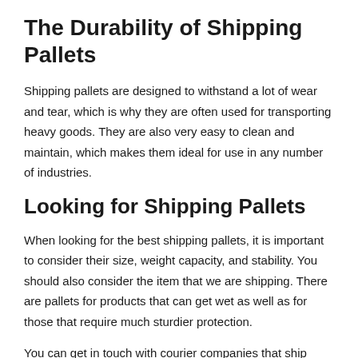The Durability of Shipping Pallets
Shipping pallets are designed to withstand a lot of wear and tear, which is why they are often used for transporting heavy goods. They are also very easy to clean and maintain, which makes them ideal for use in any number of industries.
Looking for Shipping Pallets
When looking for the best shipping pallets, it is important to consider their size, weight capacity, and stability. You should also consider the item that we are shipping. There are pallets for products that can get wet as well as for those that require much sturdier protection.
You can get in touch with courier companies that ship pallets in order to get the supplies you need.